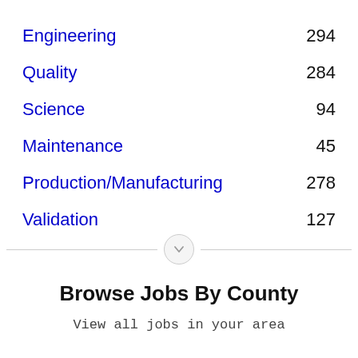Engineering 294
Quality 284
Science 94
Maintenance 45
Production/Manufacturing 278
Validation 127
Browse Jobs By County
View all jobs in your area